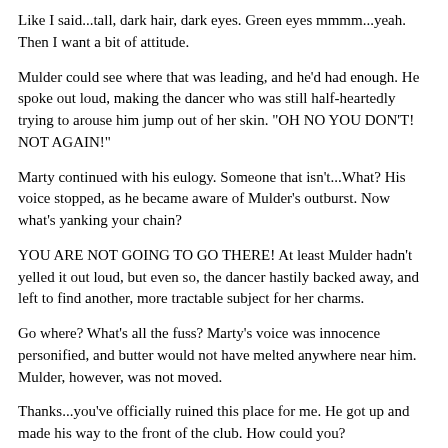Like I said...tall, dark hair, dark eyes. Green eyes mmmm...yeah. Then I want a bit of attitude.
Mulder could see where that was leading, and he'd had enough. He spoke out loud, making the dancer who was still half-heartedly trying to arouse him jump out of her skin. "OH NO YOU DON'T! NOT AGAIN!"
Marty continued with his eulogy. Someone that isn't...What? His voice stopped, as he became aware of Mulder's outburst. Now what's yanking your chain?
YOU ARE NOT GOING TO GO THERE! At least Mulder hadn't yelled it out loud, but even so, the dancer hastily backed away, and left to find another, more tractable subject for her charms.
Go where? What's all the fuss? Marty's voice was innocence personified, and butter would not have melted anywhere near him. Mulder, however, was not moved.
Thanks...you've officially ruined this place for me. He got up and made his way to the front of the club. How could you?
How could I what? Didn't do a damned thing. I don't know what you're talking about. You know I like what I like. As the trouser snake mentioned his protestations of innocence, Mulder, at the club...